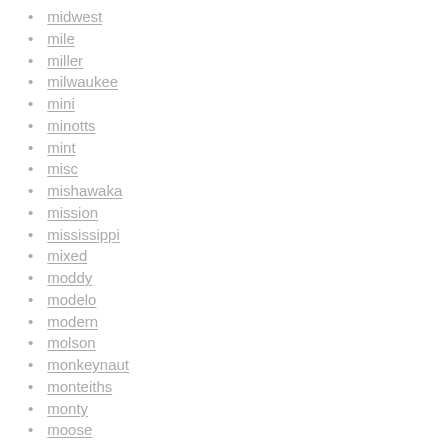midwest
mile
miller
milwaukee
mini
minotts
mint
misc
mishawaka
mission
mississippi
mixed
moddy
modelo
modern
molson
monkeynaut
monteiths
monty
moose